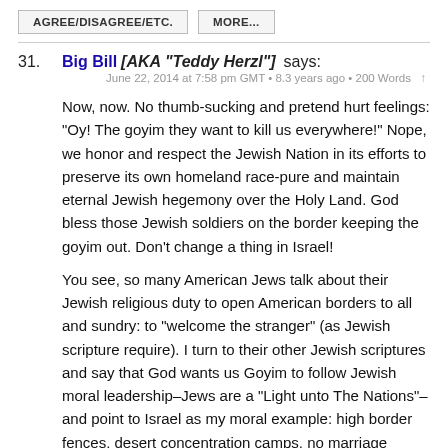AGREE/DISAGREE/ETC.   MORE...
31.  Big Bill [AKA "Teddy Herzl"] says:
June 22, 2014 at 7:58 pm GMT • 8.3 years ago • 200 Words  ↑

Now, now. No thumb-sucking and pretend hurt feelings: “Oy! The goyim they want to kill us everywhere!” Nope, we honor and respect the Jewish Nation in its efforts to preserve its own homeland race-pure and maintain eternal Jewish hegemony over the Holy Land. God bless those Jewish soldiers on the border keeping the goyim out. Don’t change a thing in Israel!

You see, so many American Jews talk about their Jewish religious duty to open American borders to all and sundry: to “welcome the stranger” (as Jewish scripture require). I turn to their other Jewish scriptures and say that God wants us Goyim to follow Jewish moral leadership–Jews are a “Light unto The Nations”–and point to Israel as my moral example: high border fences, desert concentration camps, no marriage permitted without proper breeding records, etc.